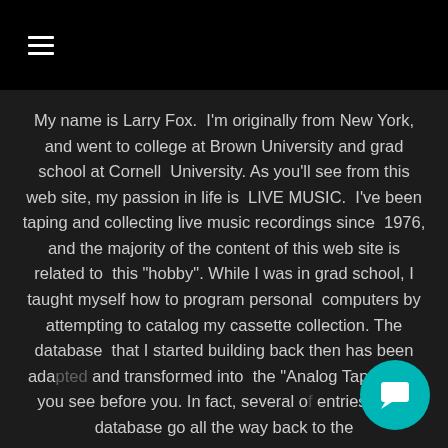≡ (hamburger menu)
My name is Larry Fox. I'm originally from New York, and went to college at Brown University and grad school at Cornell University. As you'll see from this web site, my passion in life is LIVE MUSIC. I've been taping and collecting live music recordings since 1976, and the majority of the content of this web site is related to this "hobby". While I was in grad school, I taught myself how to program personal computers by attempting to catalog my cassette collection. The database that I started building back then has been adapted and transformed into the "Analog Tape" that you see before you. In fact, several of entries in my database go all the way back to the